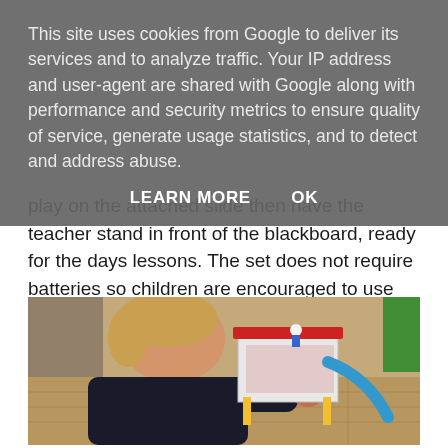This site uses cookies from Google to deliver its services and to analyze traffic. Your IP address and user-agent are shared with Google along with performance and security metrics to ensure quality of service, generate usage statistics, and to detect and address abuse.
LEARN MORE   OK
play on the attached slide then have the teacher stand in front of the blackboard, ready for the days lessons. The set does not require batteries so children are encouraged to use their imagination. I love watching C act out little scenarios.
[Figure (photo): A young child with blonde/reddish hair wearing a dark jacket, leaning over a colorful toy school building playset with a slide, figurines, and classroom elements, placed on a wooden floor.]